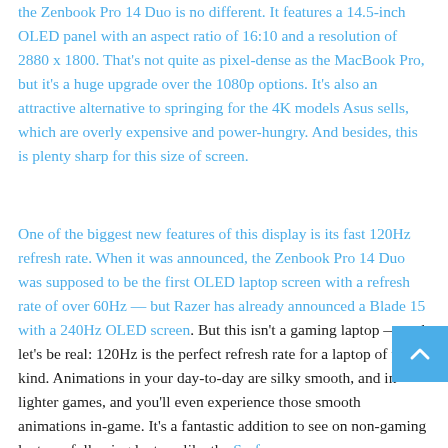the Zenbook Pro 14 Duo is no different. It features a 14.5-inch OLED panel with an aspect ratio of 16:10 and a resolution of 2880 x 1800. That's not quite as pixel-dense as the MacBook Pro, but it's a huge upgrade over the 1080p options. It's also an attractive alternative to springing for the 4K models Asus sells, which are overly expensive and power-hungry. And besides, this is plenty sharp for this size of screen.
One of the biggest new features of this display is its fast 120Hz refresh rate. When it was announced, the Zenbook Pro 14 Duo was supposed to be the first OLED laptop screen with a refresh rate of over 60Hz — but Razer has already announced a Blade 15 with a 240Hz OLED screen. But this isn't a gaming laptop — and let's be real: 120Hz is the perfect refresh rate for a laptop of this kind. Animations in your day-to-day are silky smooth, and in lighter games, and you'll even experience those smooth animations in-game. It's a fantastic addition to see on non-gaming laptops, following laptops like the Surface